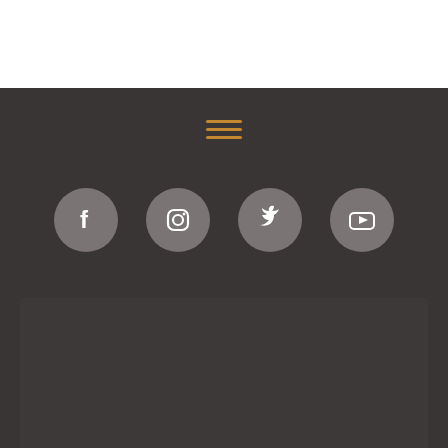[Figure (infographic): Hamburger menu icon with three horizontal orange lines centered on dark background]
[Figure (infographic): Four social media icons (Facebook, Instagram, Twitter, YouTube) as circular gray buttons with white symbols]
BULLETINS & ANNOUNCEMENTS
EMAIL NEWSLETTER
Sign-up for and manage your ministry